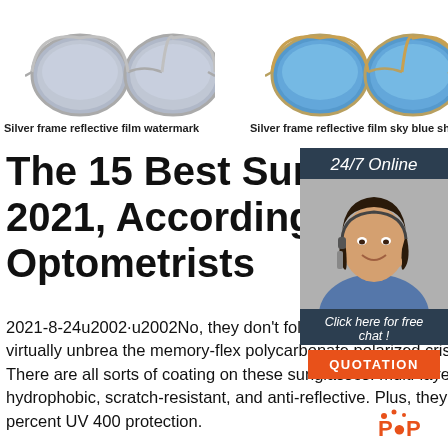[Figure (illustration): Two pairs of sunglasses side by side. Left: silver frame reflective film watermark sunglasses. Right: silver frame reflective film sky blue sheet sunglasses.]
Silver frame reflective film watermark
Silver frame reflective film sky blue sheet
The 15 Best Sunglasses 2021, According to Optometrists
2021-8-24u2002·u2002No, they don't fold, sunglasses from Reks are virtually unbreakable. the memory-flex polycarbonate polarized crisp contrast. There are all sorts of coating on these sunglasses: multi-layer mirror, hydrophobic, scratch-resistant, and anti-reflective. Plus, they offer 100 percent UV 400 protection.
[Figure (infographic): 24/7 Online customer service widget with photo of a woman wearing a headset, 'Click here for free chat!' text, and an orange QUOTATION button.]
[Figure (logo): Orange and red circular logo with dots and letters POP]